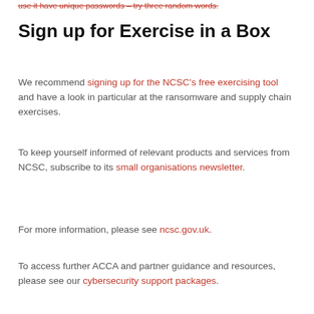use it have unique passwords – try three random words.
Sign up for Exercise in a Box
We recommend signing up for the NCSC's free exercising tool and have a look in particular at the ransomware and supply chain exercises.
To keep yourself informed of relevant products and services from NCSC, subscribe to its small organisations newsletter.
For more information, please see ncsc.gov.uk.
To access further ACCA and partner guidance and resources, please see our cybersecurity support packages.